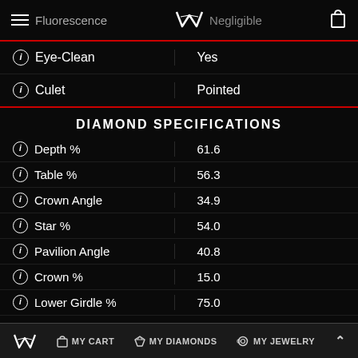Fluorescence  Negligible
| Property | Value |
| --- | --- |
| Eye-Clean | Yes |
| Culet | Pointed |
DIAMOND SPECIFICATIONS
| Specification | Value |
| --- | --- |
| Depth % | 61.6 |
| Table % | 56.3 |
| Crown Angle | 34.9 |
| Star % | 54.0 |
| Pavilion Angle | 40.8 |
| Crown % | 15.0 |
| Lower Girdle % | 75.0 |
MY CART  MY DIAMONDS  MY JEWELRY